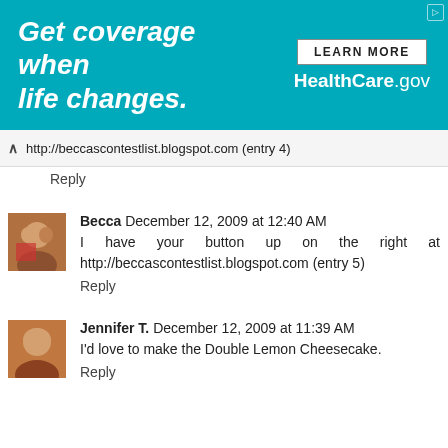[Figure (other): Advertisement banner: 'Get coverage when life changes.' with LEARN MORE button and HealthCare.gov branding on teal background]
http://beccascontestlist.blogspot.com (entry 4)
Reply
Becca December 12, 2009 at 12:40 AM
I have your button up on the right at http://beccascontestlist.blogspot.com (entry 5)
Reply
Jennifer T. December 12, 2009 at 11:39 AM
I'd love to make the Double Lemon Cheesecake.
Reply